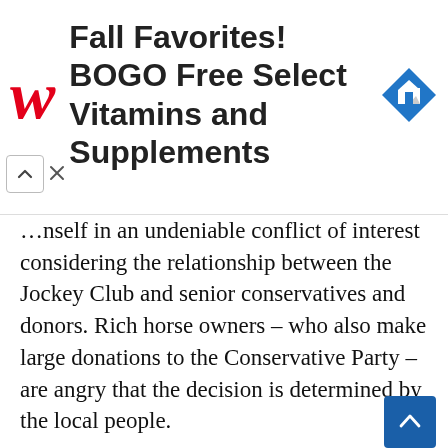[Figure (screenshot): Advertisement banner for Walgreens: 'Fall Favorites! BOGO Free Select Vitamins and Supplements' with Walgreens red cursive logo on left and blue diamond map icon on right. Close/collapse controls at bottom left.]
…nself in an undeniable conflict of interest considering the relationship between the Jockey Club and senior conservatives and donors. Rich horse owners – who also make large donations to the Conservative Party – are angry that the decision is determined by the local people.
At the same time, he has also been engulfed into a 'cash for favours' debate with plans to approve Richard Desmond, another Tory donor, for a £1 billion development. In early April, he also fired with resignation calls after